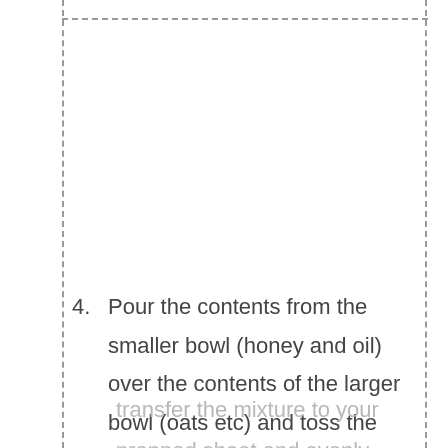4. Pour the contents from the smaller bowl (honey and oil) over the contents of the larger bowl (oats etc) and toss the ingredients together to coat them. Then transfer the mixture to your prepped sheet and evenly